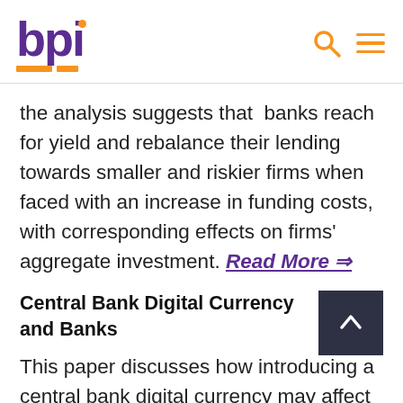bpi
the analysis suggests that  banks reach for yield and rebalance their lending towards smaller and riskier firms when faced with an increase in funding costs, with corresponding effects on firms' aggregate investment. Read More ⇒
Central Bank Digital Currency and Banks
This paper discusses how introducing a central bank digital currency may affect bank deposit-taking and lending. A